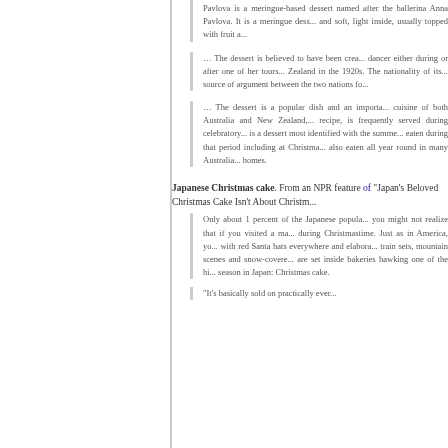Pavlova is a meringue-based dessert named after the ballerina Anna Pavlova. It is a meringue dess... and soft, light inside, usually topped with fruit a...
… The dessert is believed to have been crea... dancer either during or after one of her tours... Zealand in the 1920s. The nationality of its... source of argument between the two nations fo...
… The dessert is a popular dish and an importa... cuisine of both Australia and New Zealand,... recipe, is frequently served during celebratory... is a dessert most identified with the summe... eaten during that period including at Christma... also eaten all year round in many Australia... homes.
Japanese Christmas cake. From an NPR feature of "Japan's Beloved Christmas Cake Isn't About Christm...
Only about 1 percent of the Japanese popula... you might not realize that if you visited a ma... during Christmastime. Just as in America, yo... with red Santa hats everywhere and elabora... train sets, mountain scenes and snow-covere... are set inside bakeries hawking one of the hi... season in Japan: Christmas cake.
"It's basically sold on practically ever...